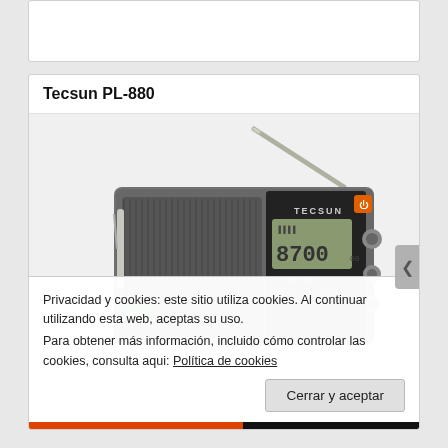Tecsun PL-880
[Figure (photo): Tecsun PL-880 portable shortwave radio with extended antenna, grey body, digital LCD display showing 87.00, orange power button, and multiple control buttons]
Privacidad y cookies: este sitio utiliza cookies. Al continuar utilizando esta web, aceptas su uso.
Para obtener más información, incluido cómo controlar las cookies, consulta aqui: Política de cookies
Cerrar y aceptar